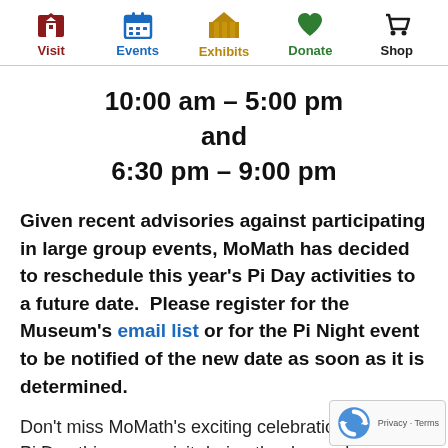Visit | Events | Exhibits | Donate | Shop
10:00 am – 5:00 pm and 6:30 pm – 9:00 pm
Given recent advisories against participating in large group events, MoMath has decided to reschedule this year's Pi Day activities to a future date.  Please register for the Museum's email list or for the Pi Night event to be notified of the new date as soon as it is determined.
Don't miss MoMath's exciting celebration of Pi Day this year...visit during the day and